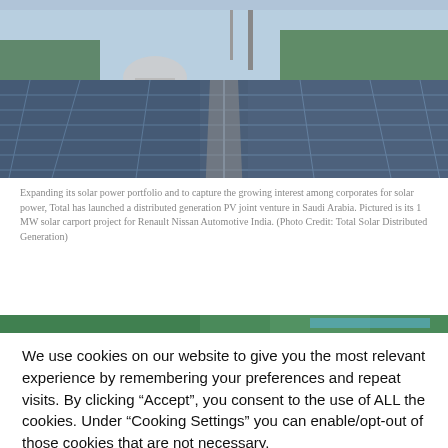[Figure (photo): Aerial view of large rooftop solar panel installation with a dome structure and trees visible in the background]
Expanding its solar power portfolio and to capture the growing interest among corporates for solar power, Total has launched a distributed generation PV joint venture in Saudi Arabia. Pictured is its 1 MW solar carport project for Renault Nissan Automotive India. (Photo Credit: Total Solar Distributed Generation)
[Figure (photo): Partial view of a second photo showing green foliage]
We use cookies on our website to give you the most relevant experience by remembering your preferences and repeat visits. By clicking “Accept”, you consent to the use of ALL the cookies. Under “Cooking Settings” you can enable/opt-out of those cookies that are not necessary.